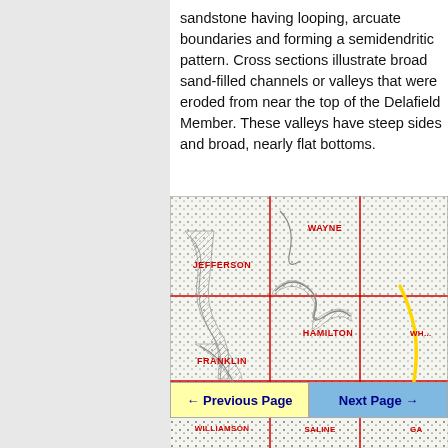sandstone having looping, arcuate boundaries and forming a semidendritic pattern. Cross sections illustrate broad sand-filled channels or valleys that were eroded from near the top of the Delafield Member. These valleys have steep sides and broad, nearly flat bottoms.
[Figure (map): Geological map showing county boundaries (Jefferson, Wayne, Hamilton, Franklin, Williamson, Saline counties) with hatched sandstone formations, dotted patterns, and a yellow river/feature boundary. Red grid lines delineate county sections.]